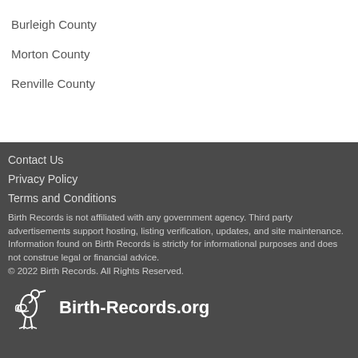Burleigh County
Morton County
Renville County
Contact Us
Privacy Policy
Terms and Conditions
Birth Records is not affiliated with any government agency. Third party advertisements support hosting, listing verification, updates, and site maintenance. Information found on Birth Records is strictly for informational purposes and does not construe legal or financial advice.
© 2022 Birth Records. All Rights Reserved.
Birth-Records.org